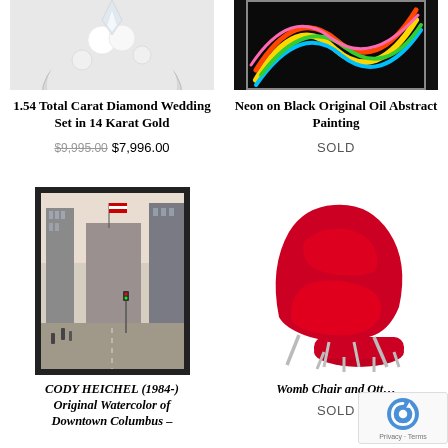[Figure (photo): Diamond wedding ring set, partially cropped at top]
[Figure (photo): Neon on Black abstract oil painting with colorful swoops on dark background, partially cropped at top]
1.54 Total Carat Diamond Wedding Set in 14 Karat Gold
$9,995.00 $7,996.00
Neon on Black Original Oil Abstract Painting
SOLD
[Figure (photo): Framed watercolor painting of Downtown Columbus city street scene with tall buildings and American flag, by Cody Heichel]
[Figure (photo): Red Womb Chair and Ottoman with chrome legs]
CODY HEICHEL (1984-) Original Watercolor of Downtown Columbus –
Womb Chair and Ott…
SOLD